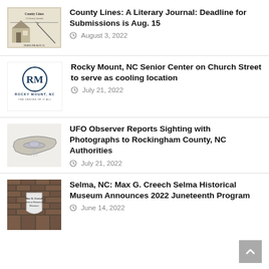[Figure (photo): County Lines literary journal cover image]
County Lines: A Literary Journal: Deadline for Submissions is Aug. 15
August 3, 2022
[Figure (logo): Rocky Mount, NC logo with RM letters]
Rocky Mount, NC Senior Center on Church Street to serve as cooling location
July 21, 2022
[Figure (illustration): North Carolina state outline silhouette]
UFO Observer Reports Sighting with Photographs to Rockingham County, NC Authorities
July 21, 2022
[Figure (photo): Brick wall with Max G. Creech Selma Historical Museum sign]
Selma, NC: Max G. Creech Selma Historical Museum Announces 2022 Juneteenth Program
June 14, 2022